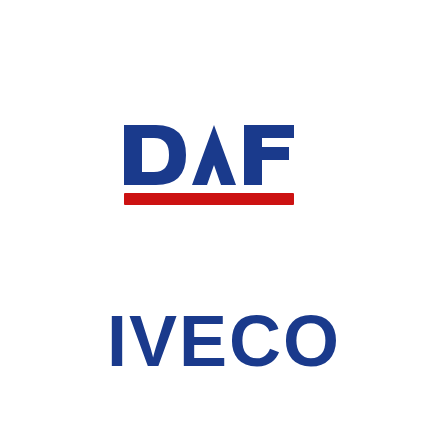[Figure (logo): DAF truck brand logo: bold blue letters 'DAF' with a red horizontal stripe underneath]
[Figure (logo): IVECO truck brand logo: bold dark blue letters 'IVECO']